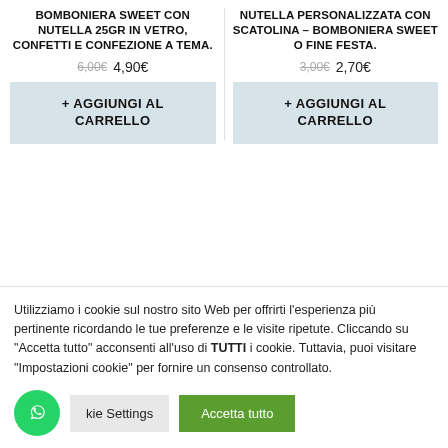BOMBONIERA SWEET CON NUTELLA 25GR IN VETRO, CONFETTI E CONFEZIONE A TEMA.
6,00€  4,90€
+ AGGIUNGI AL CARRELLO
NUTELLA PERSONALIZZATA CON SCATOLINA – BOMBONIERA SWEET O FINE FESTA.
3,00€  2,70€
+ AGGIUNGI AL CARRELLO
[Figure (other): Grey horizontal bar (pagination or slider indicator)]
Utilizziamo i cookie sul nostro sito Web per offrirti l'esperienza più pertinente ricordando le tue preferenze e le visite ripetute. Cliccando su "Accetta tutto" acconsenti all'uso di TUTTI i cookie. Tuttavia, puoi visitare "Impostazioni cookie" per fornire un consenso controllato.
Cookie Settings
Accetta tutto